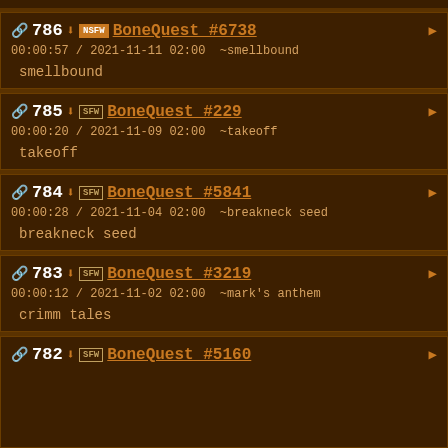786 NSFW BoneQuest #6738 00:00:57 / 2021-11-11 02:00 ~smellbound smellbound
785 SFW BoneQuest #229 00:00:20 / 2021-11-09 02:00 ~takeoff takeoff
784 SFW BoneQuest #5841 00:00:28 / 2021-11-04 02:00 ~breakneck seed breakneck seed
783 SFW BoneQuest #3219 00:00:12 / 2021-11-02 02:00 ~mark's anthem crimm tales
782 SFW BoneQuest #5160